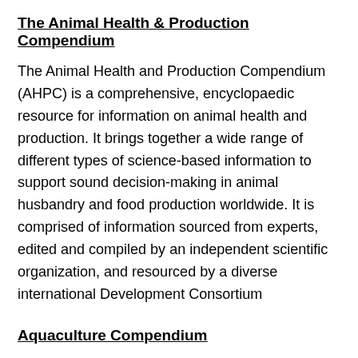The Animal Health & Production Compendium
The Animal Health and Production Compendium (AHPC) is a comprehensive, encyclopaedic resource for information on animal health and production. It brings together a wide range of different types of science-based information to support sound decision-making in animal husbandry and food production worldwide. It is comprised of information sourced from experts, edited and compiled by an independent scientific organization, and resourced by a diverse international Development Consortium
Aquaculture Compendium
The Aquaculture Compendium (AC) is an encyclopaedic, mixed media resource that brings together a wide range of different types of science-based information to support sound decision-making in aquaculture and aquatic resource management worldwide. It is comprised of information sourced from experts, and edited and compiled by an